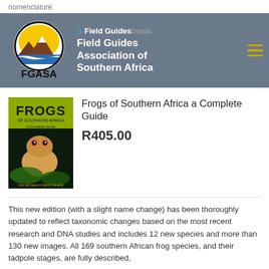nomenclature.
Field Guides Association of Southern Africa
[Figure (logo): FGASA circular logo with yellow sun, brown mountains, and blue water band. Text 'FGASA' below.]
Frogs of Southern Africa a Complete Guide
R405.00
[Figure (photo): Book cover of 'Frogs of Southern Africa – A Complete Guide' showing a frog on green leaves against a dark background.]
This new edition (with a slight name change) has been thoroughly updated to reflect taxonomic changes based on the most recent research and DNA studies and includes 12 new species and more than 130 new images. All 169 southern African frog species, and their tadpole stages, are fully described,